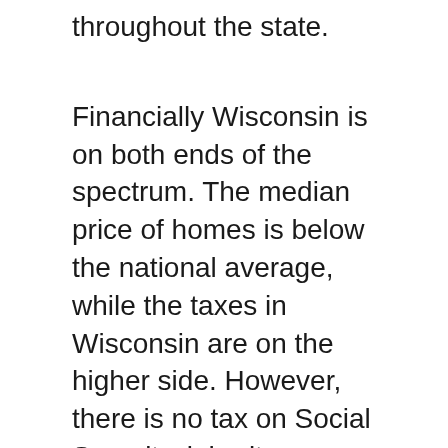throughout the state.
Financially Wisconsin is on both ends of the spectrum. The median price of homes is below the national average, while the taxes in Wisconsin are on the higher side. However, there is no tax on Social Security, inheritance, or estate.
But personal income tax is the 11th highest in the country, and property